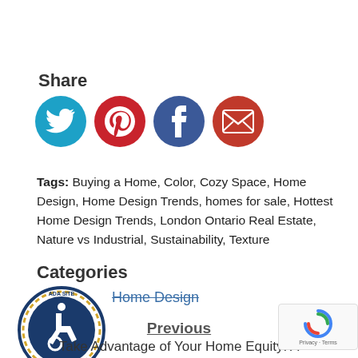Share
[Figure (illustration): Four social media share icons: Twitter (cyan), Pinterest (red), Facebook (dark blue), Email (dark red)]
Tags: Buying a Home, Color, Cozy Space, Home Design, Home Design Trends, homes for sale, Hottest Home Design Trends, London Ontario Real Estate, Nature vs Industrial, Sustainability, Texture
Categories
Home Design
[Figure (logo): ADA Site Compliance badge with wheelchair accessibility symbol]
Previous
Take Advantage of Your Home Equity: A